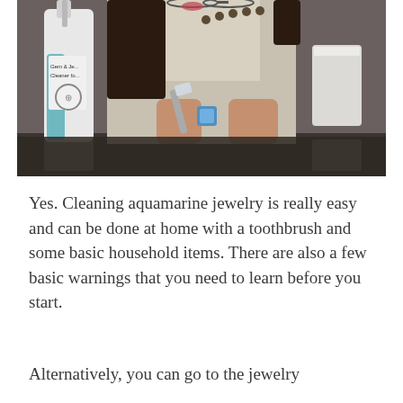[Figure (photo): A woman using a toothbrush to clean a blue aquamarine gemstone ring. A Gem & Jewelry Cleaner bottle and a white plastic cup are visible in the background on a reflective surface.]
Yes. Cleaning aquamarine jewelry is really easy and can be done at home with a toothbrush and some basic household items. There are also a few basic warnings that you need to learn before you start.
Alternatively, you can go to the jewelry